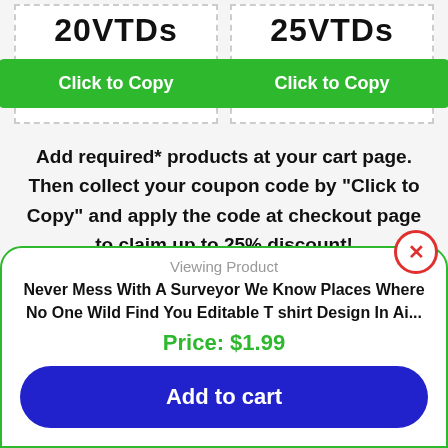[Figure (screenshot): Two coupon boxes side by side, each showing a discount percentage title (partially cropped at top showing '20V TDs' and '25V TDs') and a green 'Click to Copy' button]
Add required* products at your cart page. Then collect your coupon code by "Click to Copy" and apply the code at checkout page to claim up to 25% discount!
[Figure (other): Scroll-to-top button (grey square with upward arrow)]
Popular Bundles
Viewing Product
Never Mess With A Surveyor We Know Places Where No One Wild Find You Editable T shirt Design In Ai...
Price: $1.99
Add to cart